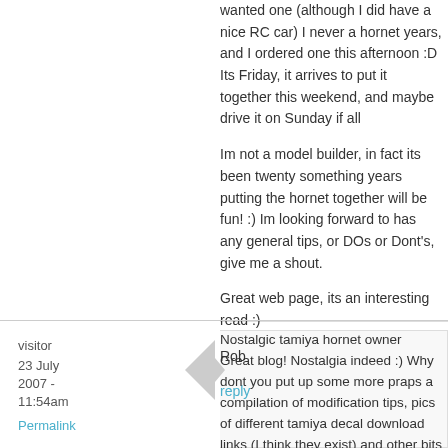wanted one (although I did have a nice RC car) I never a hornet years, and I ordered one this afternoon :D Its Friday, it arrives to put it together this weekend, and maybe drive it on Sunday if all
Im not a model builder, in fact its been twenty something years putting the hornet together will be fun! :) Im looking forward to has any general tips, or DOs or Dont's, give me a shout.
Great web page, its an interesting read :)
Rob
reply
visitor
23 July 2007 - 11:54am
Permalink
Nostalgic tamiya hornet owner
Great blog! Nostalgia indeed :) Why dont you put up some more praps a compilation of modification tips, pics of different tamiya decal download links (I think they exist) and other bits and bobs thinking of doing something along those lines at www.tamiyaho there yet. Again, nice site, its great to see a page dedicated to a p